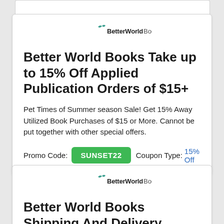[Figure (logo): BetterWorldBooks logo with teal bird/leaf icon and bold/regular text]
Better World Books Take up to 15% Off Applied Publication Orders of $15+
Pet Times of Summer season Sale! Get 15% Away Utilized Book Purchases of $15 or More. Cannot be put together with other special offers.
Promo Code: SUNSET22  Coupon Type: 15% Off
[Figure (logo): BetterWorldBooks logo with teal bird/leaf icon and bold/regular text]
Better World Books Shipping And Delivery Questions At...